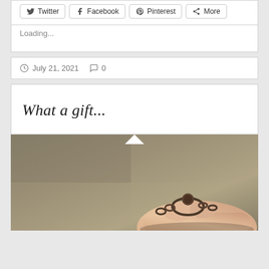[Figure (screenshot): Social share buttons row: Twitter, Facebook, Pinterest, More]
Loading...
July 21, 2021   0
What a gift...
[Figure (photo): Close-up photo of a hand wearing a decorative bracelet or ring with chain links, against a blurred grey-brown background]